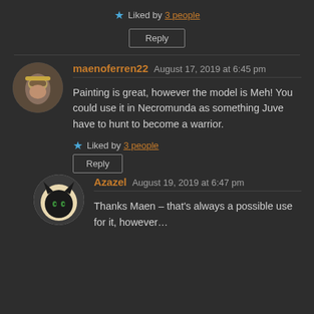★ Liked by 3 people
Reply
maenoferren22  August 17, 2019 at 6:45 pm
Painting is great, however the model is Meh! You could use it in Necromunda as something Juve have to hunt to become a warrior.
★ Liked by 3 people
Reply
Azazel  August 19, 2019 at 6:47 pm
Thanks Maen – that's always a possible use for it, however…